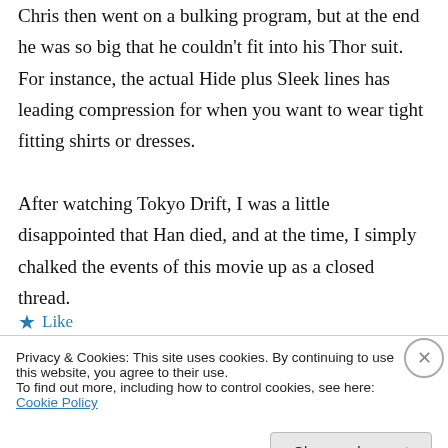Chris then went on a bulking program, but at the end he was so big that he couldn't fit into his Thor suit. For instance, the actual Hide plus Sleek lines has leading compression for when you want to wear tight fitting shirts or dresses.
After watching Tokyo Drift, I was a little disappointed that Han died, and at the time, I simply chalked the events of this movie up as a closed thread.
★ Like
Privacy & Cookies: This site uses cookies. By continuing to use this website, you agree to their use.
To find out more, including how to control cookies, see here: Cookie Policy
Close and accept